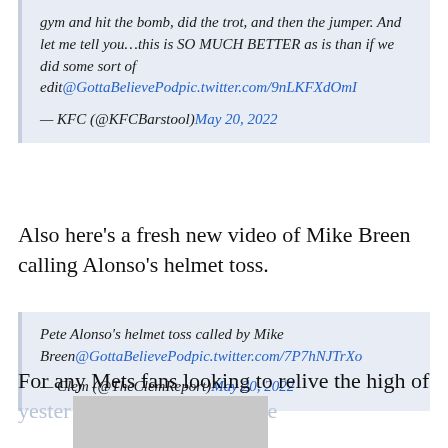gym and hit the bomb, did the trot, and then the jumper. And let me tell you…this is SO MUCH BETTER as is than if we did some sort of edit@GottaBelievePodpic.twitter.com/9nLKFXdOmI
— KFC (@KFCBarstool) May 20, 2022
Also here's a fresh new video of Mike Breen calling Alonso's helmet toss.
Pete Alonso's helmet toss called by Mike Breen@GottaBelievePodpic.twitter.com/7P7hNJTrXo
— Clem (@TheClemReport) May 20, 2022
For any Mets fans looking to relive the high of yester[day] chatte[r] [n]ow